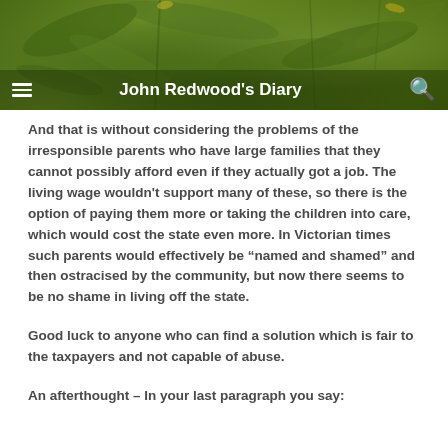John Redwood's Diary
And that is without considering the problems of the irresponsible parents who have large families that they cannot possibly afford even if they actually got a job. The living wage wouldn't support many of these, so there is the option of paying them more or taking the children into care, which would cost the state even more. In Victorian times such parents would effectively be “named and shamed” and then ostracised by the community, but now there seems to be no shame in living off the state.
Good luck to anyone who can find a solution which is fair to the taxpayers and not capable of abuse.
An afterthought – In your last paragraph you say: